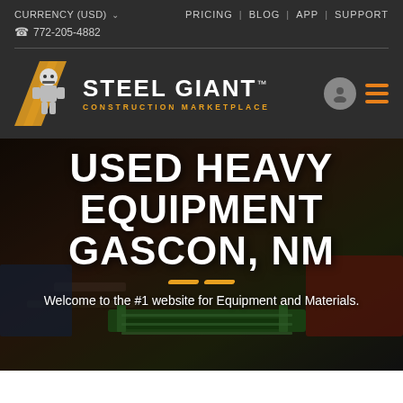CURRENCY (USD) ▾   PRICING | BLOG | APP | SUPPORT
📞 772-205-4882
[Figure (logo): Steel Giant Construction Marketplace logo with robot mascot and yellow/orange diagonal stripe design]
USED HEAVY EQUIPMENT GASCON, NM
Welcome to the #1 website for Equipment and Materials.